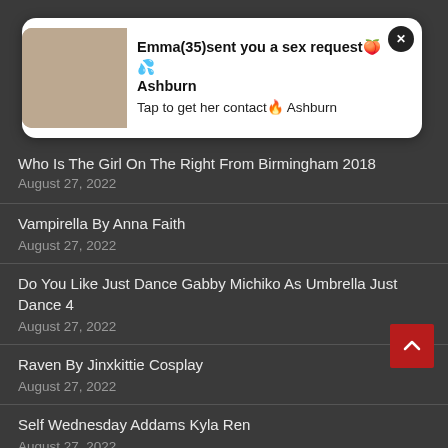[Figure (infographic): Ad overlay popup with photo and text: Emma(35)sent you a sex request Ashburn. Tap to get her contact Ashburn.]
Who Is The Girl On The Right From Birmingham 2018
August 27, 2022
Vampirella By Anna Faith
August 27, 2022
Do You Like Just Dance Gabby Michiko As Umbrella Just Dance 4
August 27, 2022
Raven By Jinxkittie Cosplay
August 27, 2022
Self Wednesday Addams Kyla Ren
August 27, 2022